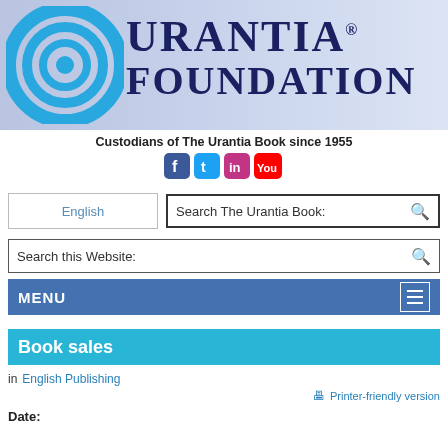[Figure (logo): Urantia Foundation logo: concentric blue circles on left, 'URANTIA FOUNDATION' text in dark navy on gradient blue-grey background]
Custodians of The Urantia Book since 1955
[Figure (infographic): Social media icons: Facebook, Twitter, Instagram, YouTube]
English
Search The Urantia Book:
Search this Website:
MENU
Book sales
in  English Publishing
Printer-friendly version
Date: